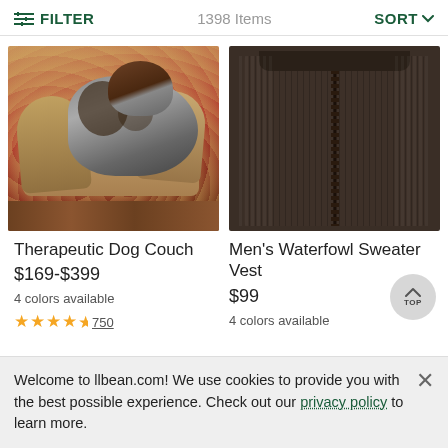FILTER  1398 Items  SORT
[Figure (photo): A dog (German Wirehaired Pointer) resting on a tan/khaki orthopedic dog couch bed, on a red floral rug on hardwood floor]
[Figure (photo): Men's Waterfowl Sweater Vest in dark brown/chocolate color, shown flat lay with zipper visible]
Therapeutic Dog Couch
$169-$399
4 colors available
★★★★½  750
Men's Waterfowl Sweater Vest
$99
4 colors available
Welcome to llbean.com! We use cookies to provide you with the best possible experience. Check out our privacy policy to learn more.